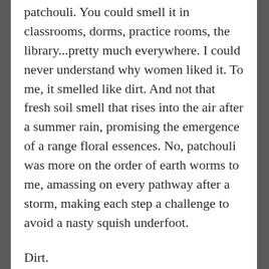patchouli. You could smell it in classrooms, dorms, practice rooms, the library...pretty much everywhere. I could never understand why women liked it. To me, it smelled like dirt. And not that fresh soil smell that rises into the air after a summer rain, promising the emergence of a range floral essences. No, patchouli was more on the order of earth worms to me, amassing on every pathway after a storm, making each step a challenge to avoid a nasty squish underfoot.
Dirt.
My mother wore Shalimar. It mixed with her chemistry in a way that made her smell like warm cookies—heady with vanilla and